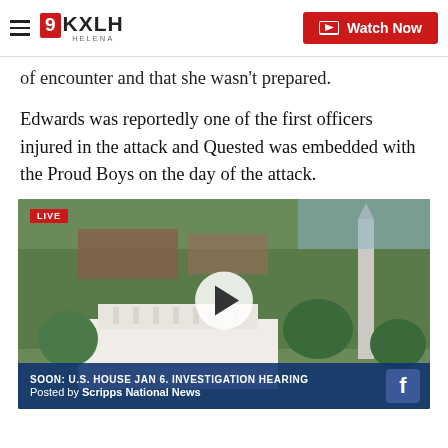9KXLH HELENA | Watch Now
of encounter and that she wasn't prepared.
Edwards was reportedly one of the first officers injured in the attack and Quested was embedded with the Proud Boys on the day of the attack.
[Figure (screenshot): Video thumbnail showing aerial view of the White House and Washington Monument with a LIVE badge, play button overlay, and lower bar reading 'SOON: U.S. HOUSE JAN 6. INVESTIGATION HEARING'. Posted by Scripps National News with Facebook icon.]